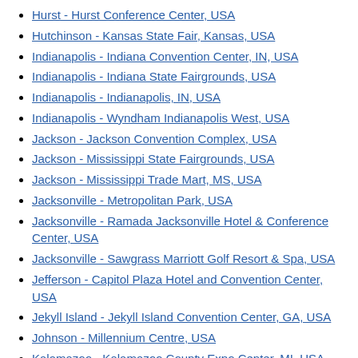Hurst - Hurst Conference Center, USA
Hutchinson - Kansas State Fair, Kansas, USA
Indianapolis - Indiana Convention Center, IN, USA
Indianapolis - Indiana State Fairgrounds, USA
Indianapolis - Indianapolis, IN, USA
Indianapolis - Wyndham Indianapolis West, USA
Jackson - Jackson Convention Complex, USA
Jackson - Mississippi State Fairgrounds, USA
Jackson - Mississippi Trade Mart, MS, USA
Jacksonville - Metropolitan Park, USA
Jacksonville - Ramada Jacksonville Hotel & Conference Center, USA
Jacksonville - Sawgrass Marriott Golf Resort & Spa, USA
Jefferson - Capitol Plaza Hotel and Convention Center, USA
Jekyll Island - Jekyll Island Convention Center, GA, USA
Johnson - Millennium Centre, USA
Kalamazoo - Kalamazoo County Expo Center, MI, USA